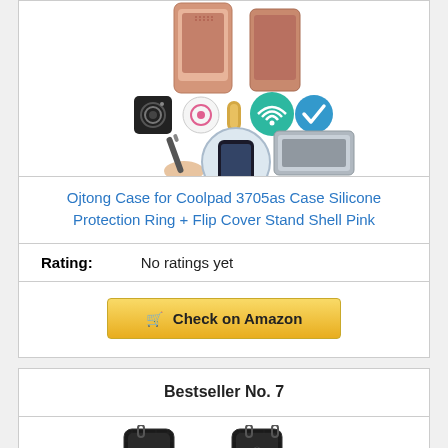[Figure (photo): Product image of a pink phone case with accessories including camera, stylus, WiFi symbol, and other features displayed]
Ojtong Case for Coolpad 3705as Case Silicone Protection Ring + Flip Cover Stand Shell Pink
Rating: No ratings yet
[Figure (other): Check on Amazon button with shopping cart icon]
Bestseller No. 7
[Figure (photo): Black phone cases product image at bottom]